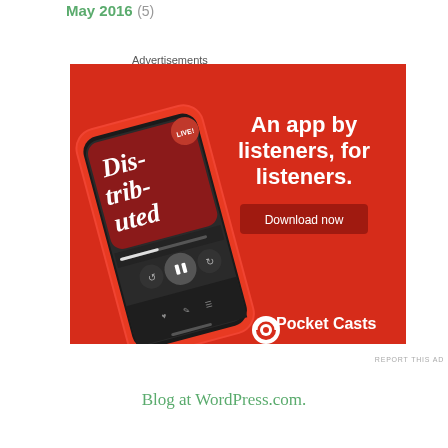May 2016 (5)
Advertisements
[Figure (photo): Pocket Casts advertisement banner with red background showing a smartphone displaying a podcast app interface. Text reads 'An app by listeners, for listeners.' with a 'Download now' button and the Pocket Casts logo at the bottom.]
REPORT THIS AD
Blog at WordPress.com.